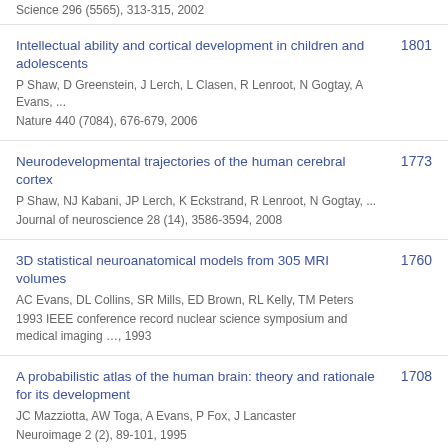Science 296 (5565), 313-315, 2002
Intellectual ability and cortical development in children and adolescents
P Shaw, D Greenstein, J Lerch, L Clasen, R Lenroot, N Gogtay, A Evans, ...
Nature 440 (7084), 676-679, 2006
1801
Neurodevelopmental trajectories of the human cerebral cortex
P Shaw, NJ Kabani, JP Lerch, K Eckstrand, R Lenroot, N Gogtay, ...
Journal of neuroscience 28 (14), 3586-3594, 2008
1773
3D statistical neuroanatomical models from 305 MRI volumes
AC Evans, DL Collins, SR Mills, ED Brown, RL Kelly, TM Peters
1993 IEEE conference record nuclear science symposium and medical imaging …, 1993
1760
A probabilistic atlas of the human brain: theory and rationale for its development
JC Mazziotta, AW Toga, A Evans, P Fox, J Lancaster
Neuroimage 2 (2), 89-101, 1995
1708